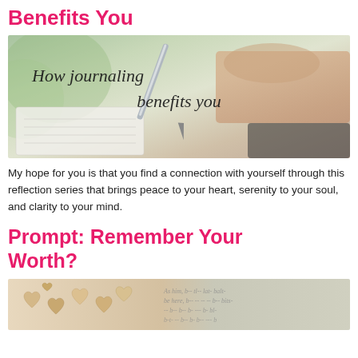Benefits You
[Figure (photo): A person writing in a journal with a pen, overlaid with handwritten-style cursive text reading 'How journaling benefits you']
My hope for you is that you find a connection with yourself through this reflection series that brings peace to your heart, serenity to your soul, and clarity to your mind.
Prompt: Remember Your Worth?
[Figure (photo): Small wooden heart-shaped pieces scattered on a surface alongside handwritten notebook text]